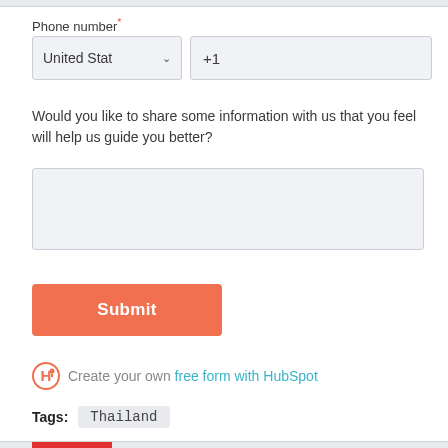Phone number*
[Figure (screenshot): Phone number input fields: country selector showing 'United Stat' with dropdown arrow, and phone number field showing '+1']
Would you like to share some information with us that you feel will help us guide you better?
[Figure (screenshot): Empty textarea input field]
[Figure (screenshot): Orange Submit button]
Create your own free form with HubSpot
Tags: Thailand